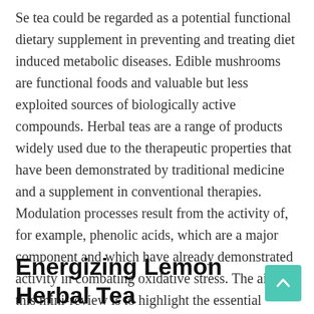Se tea could be regarded as a potential functional dietary supplement in preventing and treating diet induced metabolic diseases. Edible mushrooms are functional foods and valuable but less exploited sources of biologically active compounds. Herbal teas are a range of products widely used due to the therapeutic properties that have been demonstrated by traditional medicine and a supplement in conventional therapies. Modulation processes result from the activity of, for example, phenolic acids, which are a major component and which have already demonstrated activity in combating oxidative stress. The aim of this mini-review is to highlight the essential aspects of modulating the microbiota using edible mushrooms and herbal teas. Although the phenolic pattern is different for edible mushrooms and herbal teas, certain non-phenolic compounds (polysaccharides and/or caffeine) are important in alleviating chronic diseases.
Energizing Lemon Herbal Tea